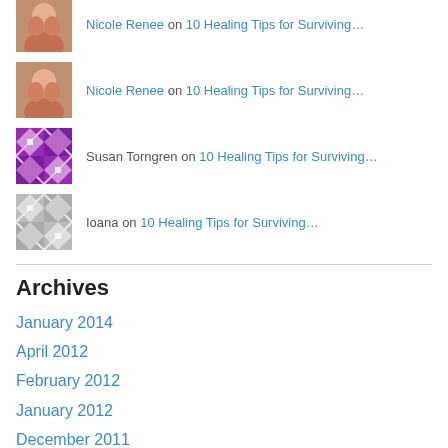Nicole Renee on 10 Healing Tips for Surviving…
Nicole Renee on 10 Healing Tips for Surviving…
Susan Torngren on 10 Healing Tips for Surviving…
Ioana on 10 Healing Tips for Surviving…
Archives
January 2014
April 2012
February 2012
January 2012
December 2011
October 2011
September 2011